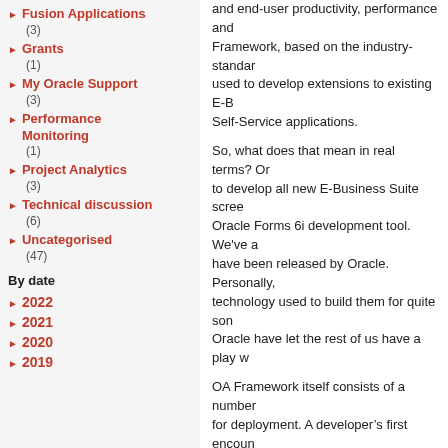Fusion Applications (3)
Grants (1)
My Oracle Support (3)
Performance Monitoring (1)
Project Analytics (3)
Technical discussion (6)
Uncategorised (47)
By date
2022
2021
2020
2019
and end-user productivity, performance and... Framework, based on the industry-standard... used to develop extensions to existing E-B... Self-Service applications.
So, what does that mean in real terms? Or... to develop all new E-Business Suite screen... Oracle Forms 6i development tool. We've a... have been released by Oracle. Personally,... technology used to build them for quite som... Oracle have let the rest of us have a play w...
OA Framework itself consists of a number o... for deployment. A developer's first encount... version of JDeveloper, based on v9.0.3 for... extended to be “aware” of the various OAF... you build them.
The typical build of an OAF application rou...
Design your Model using BC4J (Busines...
Design your Views using UIX